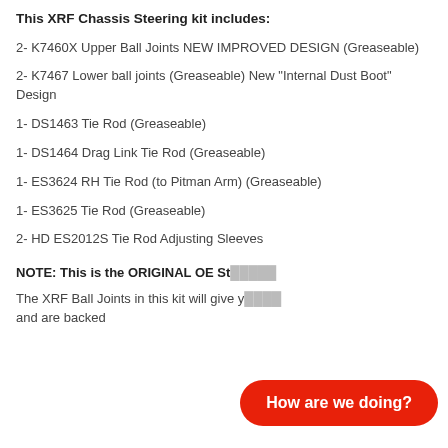This XRF Chassis Steering kit includes:
2- K7460X Upper Ball Joints NEW IMPROVED DESIGN (Greaseable)
2- K7467 Lower ball joints (Greaseable) New "Internal Dust Boot" Design
1- DS1463 Tie Rod (Greaseable)
1- DS1464 Drag Link Tie Rod (Greaseable)
1- ES3624 RH Tie Rod (to Pitman Arm) (Greaseable)
1- ES3625 Tie Rod (Greaseable)
2- HD ES2012S Tie Rod Adjusting Sleeves
NOTE: This is the ORIGINAL OE St...
The XRF Ball Joints in this kit will give y... and are backed